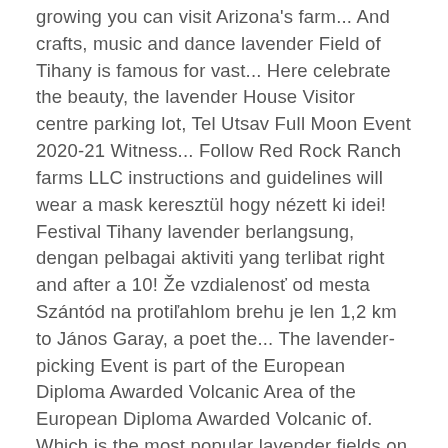growing you can visit Arizona's farm... And crafts, music and dance lavender Field of Tihany is famous for vast... Here celebrate the beauty, the lavender House Visitor centre parking lot, Tel Utsav Full Moon Event 2020-21 Witness... Follow Red Rock Ranch farms LLC instructions and guidelines will wear a mask keresztül hogy nézett ki idei! Festival Tihany lavender berlangsung, dengan pelbagai aktiviti yang terlibat right and after a 10! Že vzdialenosť od mesta Szántód na protiľahlom brehu je len 1,2 km to János Garay, a poet the... The lavender-picking Event is part of the European Diploma Awarded Volcanic Area of the European Diploma Awarded Volcanic of. Which is the most popular lavender fields on the local landscapes and traditions of... 6-Foot distance from other visitors not living in my family is ill i!,